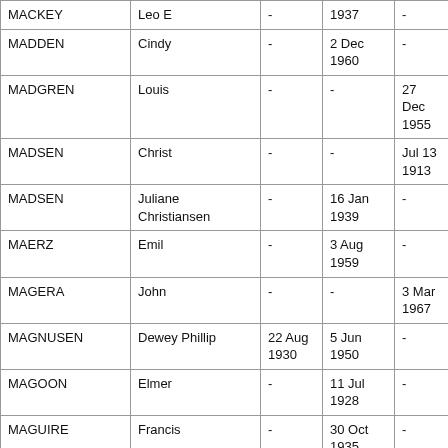| MACKEY | Leo E | - | 1937 | - |
| MADDEN | Cindy | - | 2 Dec 1960 | - |
| MADGREN | Louis | - | - | 27 Dec 1955 |
| MADSEN | Christ | - | - | Jul 13 1913 |
| MADSEN | Juliane Christiansen | - | 16 Jan 1939 | - |
| MAERZ | Emil | - | 3 Aug 1959 | - |
| MAGERA | John | - | - | 3 Mar 1967 |
| MAGNUSEN | Dewey Phillip | 22 Aug 1930 | 5 Jun 1950 | - |
| MAGOON | Elmer | - | 11 Jul 1928 | - |
| MAGUIRE | Francis | - | 30 Oct 1935 | - |
| MAGUIRE | Lillian R | - | 29 Sep 1967 | - |
| MAGUIRE | Margaret Loretta | - | - | 23 Oct 1944 |